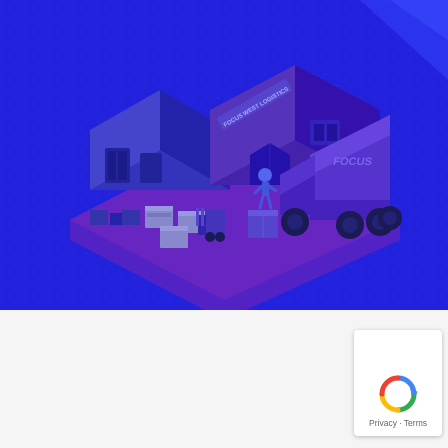[Figure (illustration): Isometric illustration of a logistics warehouse scene with blue background. Shows a 'Focus West Logistics' building with loading docks, pallets of goods, a forklift operator, a worker, and a large 'FOCUS' branded delivery truck. The scene is rendered in shades of blue and purple on a bright blue dotted background.]
SERVICES
LTL Shipping